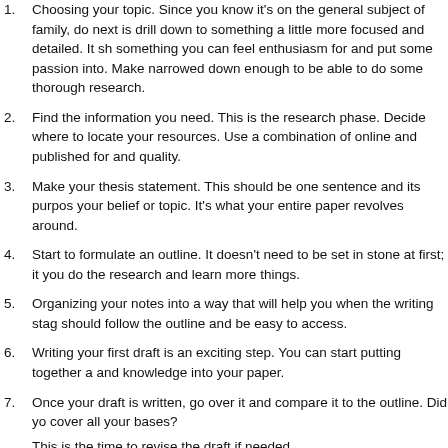1. Choosing your topic. Since you know it's on the general subject of family, do next is drill down to something a little more focused and detailed. It sh something you can feel enthusiasm for and put some passion into. Make narrowed down enough to be able to do some thorough research.
2. Find the information you need. This is the research phase. Decide where to locate your resources. Use a combination of online and published for and quality.
3. Make your thesis statement. This should be one sentence and its purpos your belief or topic. It's what your entire paper revolves around.
4. Start to formulate an outline. It doesn't need to be set in stone at first; it you do the research and learn more things.
5. Organizing your notes into a way that will help you when the writing stag should follow the outline and be easy to access.
6. Writing your first draft is an exciting step. You can start putting together a and knowledge into your paper.
7. Once your draft is written, go over it and compare it to the outline. Did yo cover all your bases?
This is the time to revise the draft if needed.
8. Last-minute checks before proofreading and producing the final draft inc
Check your thesis statement for clarity
Are the arguments presented logically?
Are all citations done properly and checked to avoid plagiarism?
Is my point or purpose clear?